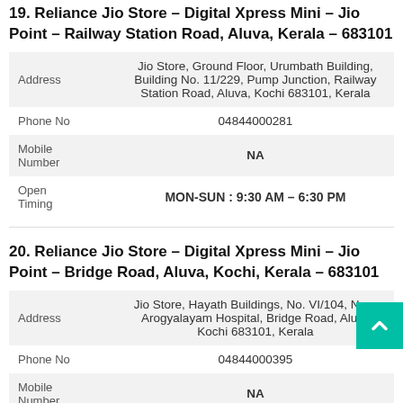19. Reliance Jio Store – Digital Xpress Mini – Jio Point – Railway Station Road, Aluva, Kerala – 683101
|  |  |
| --- | --- |
| Address | Jio Store, Ground Floor, Urumbath Building, Building No. 11/229, Pump Junction, Railway Station Road, Aluva, Kochi 683101, Kerala |
| Phone No | 04844000281 |
| Mobile Number | NA |
| Open Timing | MON-SUN : 9:30 AM – 6:30 PM |
20. Reliance Jio Store – Digital Xpress Mini – Jio Point – Bridge Road, Aluva, Kochi, Kerala – 683101
|  |  |
| --- | --- |
| Address | Jio Store, Hayath Buildings, No. VI/104, Near Arogyalayam Hospital, Bridge Road, Aluva, Kochi 683101, Kerala |
| Phone No | 04844000395 |
| Mobile Number | NA |